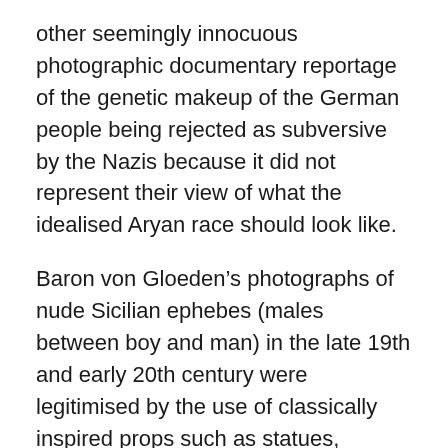other seemingly innocuous photographic documentary reportage of the genetic makeup of the German people being rejected as subversive by the Nazis because it did not represent their view of what the idealised Aryan race should look like.
Baron von Gloeden's photographs of nude Sicilian ephebes (males between boy and man) in the late 19th and early 20th century were legitimised by the use of classically inspired props such as statues, columns, vases and togas. “The photographs were collected by some people for their chaste and idyllic nature but for others, such as homosexual men, there is a subtext of latent homo-eroticism present in the positioning and presentation of the youthful male body. The imagery of the penis and the male rump can be seen as totally innocent, but to